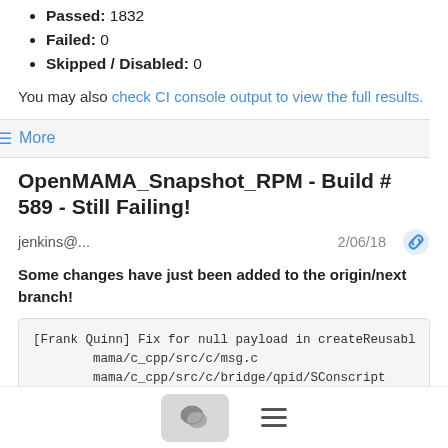Passed: 1832
Failed: 0
Skipped / Disabled: 0
You may also check CI console output to view the full results.
≡ More
OpenMAMA_Snapshot_RPM - Build # 589 - Still Failing!
jenkins@...   2/06/18
Some changes have just been added to the origin/next branch!
[Frank Quinn] Fix for null payload in createReusabl
        mama/c_cpp/src/c/msg.c
        mama/c_cpp/src/c/bridge/qpid/SConscript